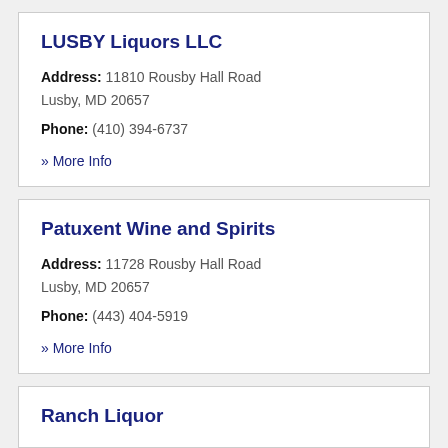LUSBY Liquors LLC
Address: 11810 Rousby Hall Road
Lusby, MD 20657
Phone: (410) 394-6737
» More Info
Patuxent Wine and Spirits
Address: 11728 Rousby Hall Road
Lusby, MD 20657
Phone: (443) 404-5919
» More Info
Ranch Liquor